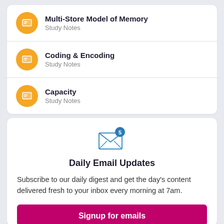Multi-Store Model of Memory
Study Notes
Coding & Encoding
Study Notes
Capacity
Study Notes
[Figure (illustration): Envelope icon with blue notification badge showing number 5]
Daily Email Updates
Subscribe to our daily digest and get the day's content delivered fresh to your inbox every morning at 7am.
Signup for emails